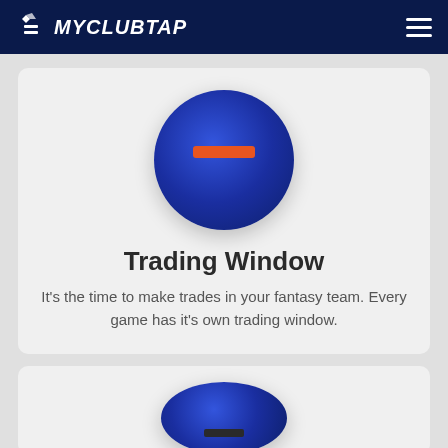MYCLUBTAP
[Figure (illustration): Blue circle with orange horizontal bar in center, representing Trading Window icon]
Trading Window
It's the time to make trades in your fantasy team. Every game has it's own trading window.
[Figure (illustration): Partial blue circle icon for second card, cropped at bottom of page]